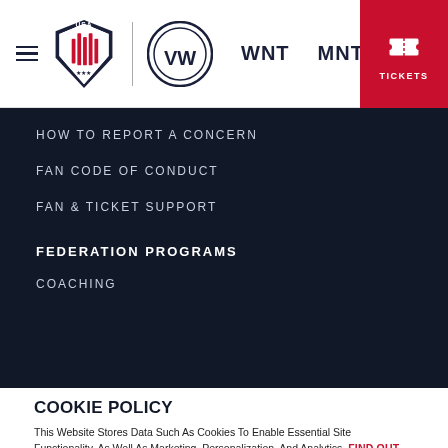USA Soccer | WNT | MNT | TICKETS
HOW TO REPORT A CONCERN
FAN CODE OF CONDUCT
FAN & TICKET SUPPORT
FEDERATION PROGRAMS
COACHING
COOKIE POLICY
This Website Stores Data Such As Cookies To Enable Essential Site Functionality, As Well As Marketing, Personalization, And Analytics. FIND OUT MORE.
ACCEPT
DENY